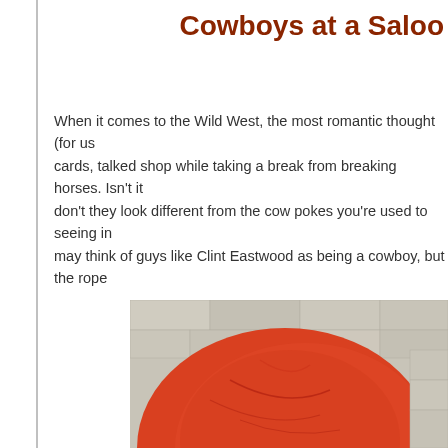Cowboys at a Saloon
When it comes to the Wild West, the most romantic thought (for us cards, talked shop while taking a break from breaking horses. Isn't it don't they look different from the cow pokes you're used to seeing in may think of guys like Clint Eastwood as being a cowboy, but the rope
[Figure (photo): Close-up photo of a large red/orange round object (appears to be a red hat or similar worn item) against a stone or concrete wall background.]